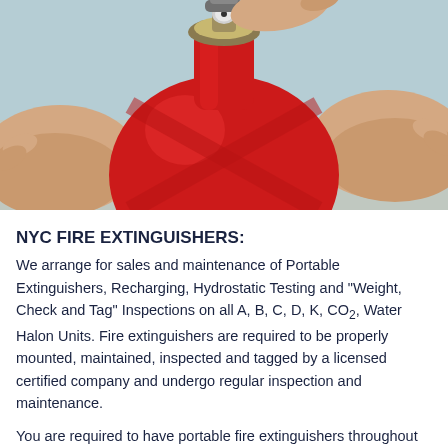[Figure (photo): Close-up photograph of a red fire extinguisher being held by a person, showing the top valve and body of the extinguisher against a light background.]
NYC FIRE EXTINGUISHERS:
We arrange for sales and maintenance of Portable Extinguishers, Recharging, Hydrostatic Testing and "Weight, Check and Tag" Inspections on all A, B, C, D, K, CO₂, Water Halon Units. Fire extinguishers are required to be properly mounted, maintained, inspected and tagged by a licensed certified company and undergo regular inspection and maintenance.
You are required to have portable fire extinguishers throughout your workplace even if you have a sprinkler system. All work performed is completed according to